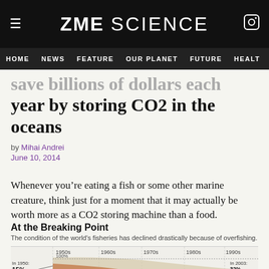ZME SCIENCE
HOME  NEWS  FEATURE  OUR PLANET  FUTURE  HEALT
save billions of dollars each year by storing CO2 in the oceans
by Mihai Andrei
June 10, 2014
Whenever you’re eating a fish or some other marine creature, think just for a moment that it may actually be worth more as a CO2 storing machine than a food.
At the Breaking Point
The condition of the world’s fisheries has declined drastically because of overfishing.
[Figure (infographic): Timeline infographic showing world fisheries decline from 1950s to 2000s. In 1950: 15% of fish. 100% label visible in 1950s column. CRASHED label in 1980s-1990s zone. In 2003: 32% of stocks had crashed. Shaded area chart showing fishery stock health over decades with warm color gradient.]